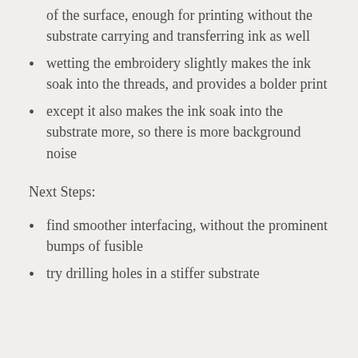of the surface, enough for printing without the substrate carrying and transferring ink as well
wetting the embroidery slightly makes the ink soak into the threads, and provides a bolder print
except it also makes the ink soak into the substrate more, so there is more background noise
Next Steps:
find smoother interfacing, without the prominent bumps of fusible
try drilling holes in a stiffer substrate